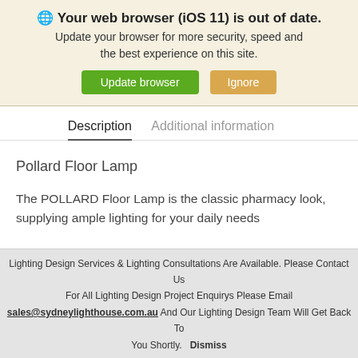🌐 Your web browser (iOS 11) is out of date. Update your browser for more security, speed and the best experience on this site.
Update browser | Ignore
Description
Additional information
Pollard Floor Lamp
The POLLARD Floor Lamp is the classic pharmacy look, supplying ample lighting for your daily needs
Lighting Design Services & Lighting Consultations Are Available. Please Contact Us
For All Lighting Design Project Enquirys Please Email
sales@sydneylighthouse.com.au And Our Lighting Design Team Will Get Back To You Shortly. Dismiss